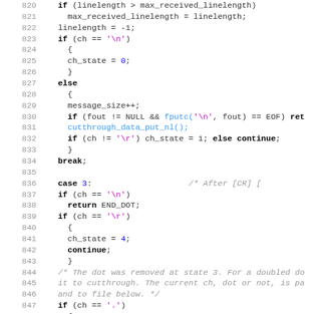[Figure (screenshot): Source code listing lines 820-851 in C, showing state machine logic for line length tracking, newline/carriage return handling, and dot-removal logic.]